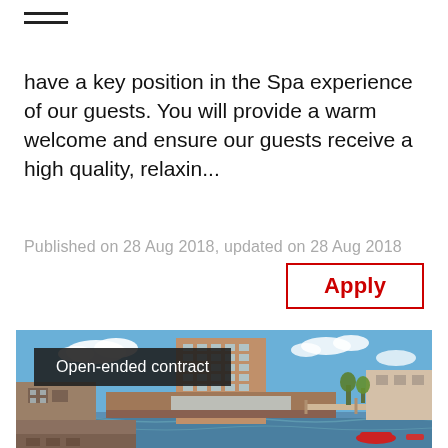menu icon / hamburger
have a key position in the Spa experience of our guests. You will provide a warm welcome and ensure our guests receive a high quality, relaxin...
Published on 28 Aug 2018, updated on 28 Aug 2018
Apply
[Figure (photo): Hotel building by a river under blue sky with clouds. Label overlay reads 'Open-ended contract'.]